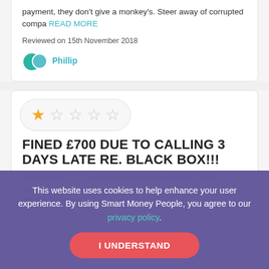payment, they don't give a monkey's. Steer away of corrupted compa READ MORE
Reviewed on 15th November 2018
Phillip
[Figure (other): Star rating widget showing 1 out of 5 stars filled (orange), 4 empty stars, in a rounded pill container]
FINED £700 DUE TO CALLING 3 DAYS LATE RE. BLACK BOX!!!
This website uses cookies to help enhance your user experience. By using Smart Money People, you agree to our privacy policy.
I UNDERSTAND